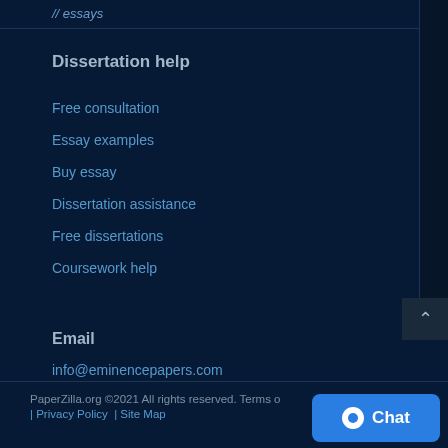// essays
Dissertation help
Free consultation
Essay examples
Buy essay
Dissertation assistance
Free dissertations
Coursework help
Email
info@eminencepapers.com
PaperZilla.org ©2021 All rights reserved. Terms o... | Privacy Policy | Site Map